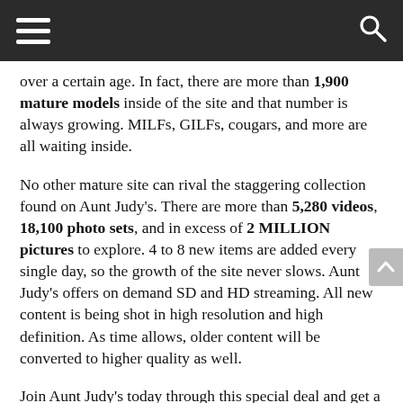[hamburger menu] [search icon]
over a certain age. In fact, there are more than 1,900 mature models inside of the site and that number is always growing. MILFs, GILFs, cougars, and more are all waiting inside.
No other mature site can rival the staggering collection found on Aunt Judy's. There are more than 5,280 videos, 18,100 photo sets, and in excess of 2 MILLION pictures to explore. 4 to 8 new items are added every single day, so the growth of the site never slows. Aunt Judy's offers on demand SD and HD streaming. All new content is being shot in high resolution and high definition. As time allows, older content will be converted to higher quality as well.
Join Aunt Judy's today through this special deal and get a 34% discount off the price of a 30 day pass. Pay just $19.95 and indulge in beautiful older women right away!